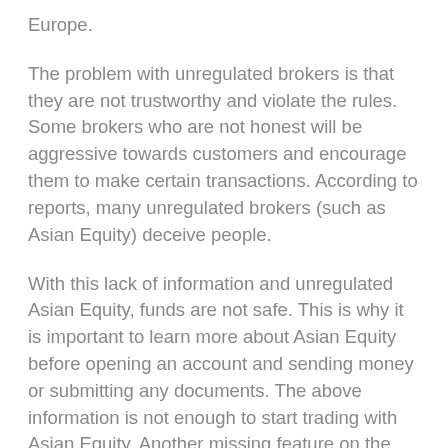Europe.
The problem with unregulated brokers is that they are not trustworthy and violate the rules. Some brokers who are not honest will be aggressive towards customers and encourage them to make certain transactions. According to reports, many unregulated brokers (such as Asian Equity) deceive people.
With this lack of information and unregulated Asian Equity, funds are not safe. This is why it is important to learn more about Asian Equity before opening an account and sending money or submitting any documents. The above information is not enough to start trading with Asian Equity. Another missing feature on the Asian Equity support page is a list of